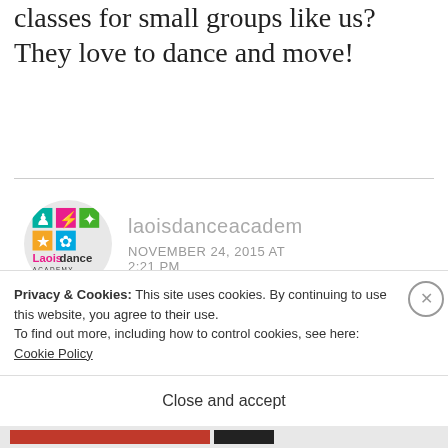classes for small groups like us? They love to dance and move!
[Figure (logo): Laois Dance Academy logo with colorful dancing figures and text 'Laois dance ACADEMY']
laoisdanceacader
NOVEMBER 24, 2015 AT 2:21 PM
Hi Mary,
Yes, I would love to work with your
Privacy & Cookies: This site uses cookies. By continuing to use this website, you agree to their use.
To find out more, including how to control cookies, see here: Cookie Policy
Close and accept